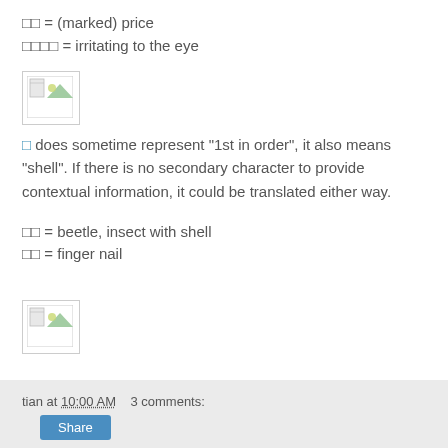□□ = (marked) price
□□□□ = irritating to the eye
[Figure (illustration): Broken image placeholder (small icon with document and landscape thumbnail)]
□ does sometime represent "1st in order", it also means "shell". If there is no secondary character to provide contextual information, it could be translated either way.
□□ = beetle, insect with shell
□□ = finger nail
[Figure (illustration): Broken image placeholder (small icon with document and landscape thumbnail)]
tian at 10:00 AM    3 comments:
Share